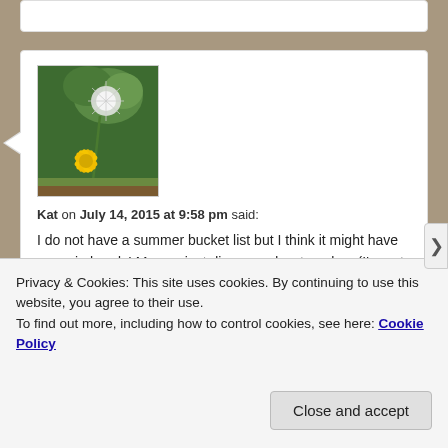[Figure (photo): Avatar photo of a dandelion flower with yellow bloom and seed head against green foliage background]
Kat on July 14, 2015 at 9:58 pm said:
I do not have a summer bucket list but I think it might have come in handy! My son just discovered watercolors (I'm not sure if he knows about the pencils) and has been creating new pieces of art almost every day. It totally jump started his creative side, which I'm very thankful for. (And those adult popsicles sound like the
Privacy & Cookies: This site uses cookies. By continuing to use this website, you agree to their use.
To find out more, including how to control cookies, see here: Cookie Policy